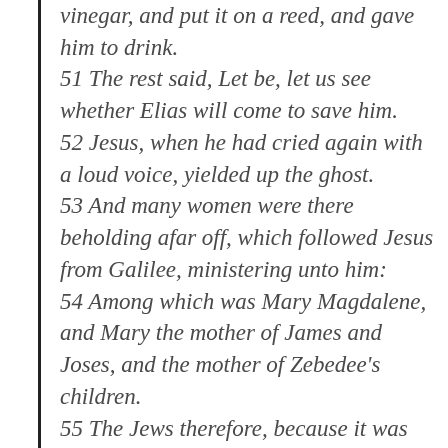vinegar, and put it on a reed, and gave him to drink. 51 The rest said, Let be, let us see whether Elias will come to save him. 52 Jesus, when he had cried again with a loud voice, yielded up the ghost. 53 And many women were there beholding afar off, which followed Jesus from Galilee, ministering unto him: 54 Among which was Mary Magdalene, and Mary the mother of James and Joses, and the mother of Zebedee's children. 55 The Jews therefore, because it was the preparation, that the bodies should not remain upon the cross on the